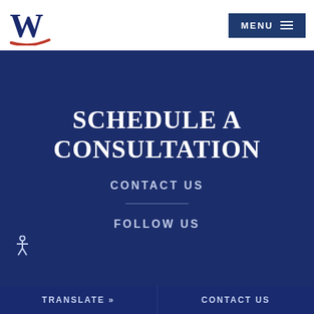[Figure (logo): W logo with blue letter W and red swoosh underline]
MENU
SCHEDULE A CONSULTATION
CONTACT US
FOLLOW US
TRANSLATE »   CONTACT US